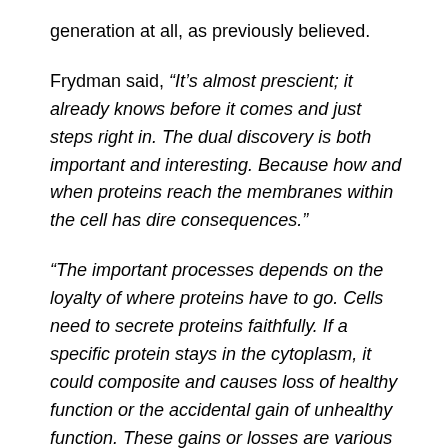generation at all, as previously believed.
Frydman said, “It’s almost prescient; it already knows before it comes and just steps right in. The dual discovery is both important and interesting. Because how and when proteins reach the membranes within the cell has dire consequences.”
“The important processes depends on the loyalty of where proteins have to go. Cells need to secrete proteins faithfully. If a specific protein stays in the cytoplasm, it could composite and causes loss of healthy function or the accidental gain of unhealthy function. These gains or losses are various complex diseases, like cystic fibrosis, cancer and Alzheimer’s disease. Many pharmaceutically important proteins are develop in large part by targeting them to this secretory pathway. But they have also been design depending on this classical model. Having a better understanding of this